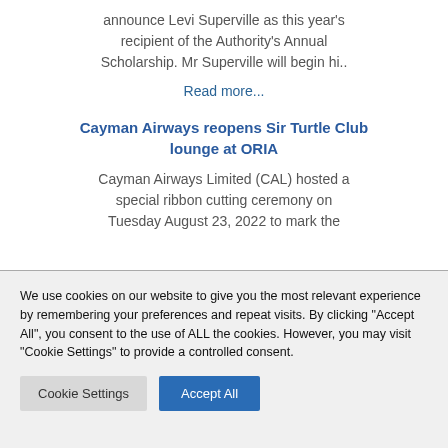announce Levi Superville as this year's recipient of the Authority's Annual Scholarship. Mr Superville will begin hi..
Read more...
Cayman Airways reopens Sir Turtle Club lounge at ORIA
Cayman Airways Limited (CAL) hosted a special ribbon cutting ceremony on Tuesday August 23, 2022 to mark the
We use cookies on our website to give you the most relevant experience by remembering your preferences and repeat visits. By clicking "Accept All", you consent to the use of ALL the cookies. However, you may visit "Cookie Settings" to provide a controlled consent.